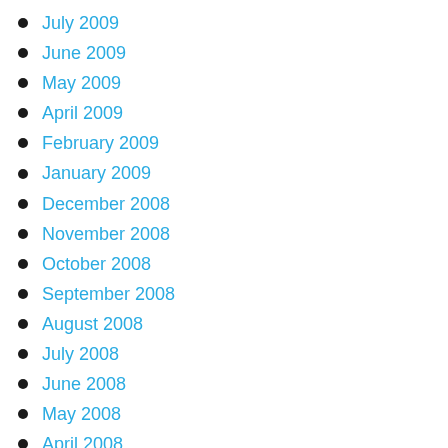July 2009
June 2009
May 2009
April 2009
February 2009
January 2009
December 2008
November 2008
October 2008
September 2008
August 2008
July 2008
June 2008
May 2008
April 2008
March 2008
February 2008
January 2008